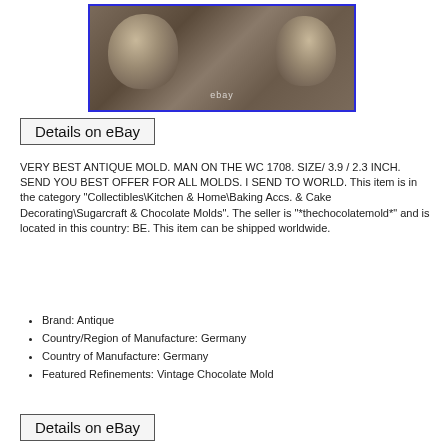[Figure (photo): Antique chocolate mold shaped like two frog/toad figures, photographed against a warm background. eBay watermark visible. Image has blue border.]
Details on eBay
VERY BEST ANTIQUE MOLD. MAN ON THE WC 1708. SIZE/ 3.9 / 2.3 INCH. SEND YOU BEST OFFER FOR ALL MOLDS. I SEND TO WORLD. This item is in the category "Collectibles\Kitchen & Home\Baking Accs. & Cake Decorating\Sugarcraft & Chocolate Molds". The seller is "*thechocolatemold*" and is located in this country: BE. This item can be shipped worldwide.
Brand: Antique
Country/Region of Manufacture: Germany
Country of Manufacture: Germany
Featured Refinements: Vintage Chocolate Mold
Details on eBay